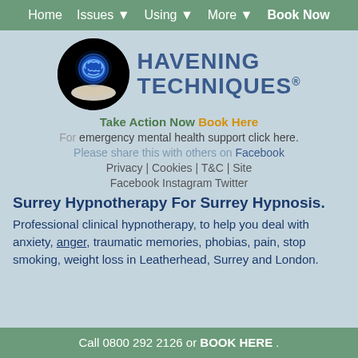Home  Issues ▼  Using ▼  More ▼  Book Now
[Figure (logo): Havening Techniques logo: black circle with glowing blue brain on a hand, next to blue bold text HAVENING TECHNIQUES with registered trademark symbol]
Take Action Now Book Here
For emergency mental health support click here.
Please share this with others on Facebook
Privacy | Cookies | T&C | Site
Facebook Instagram Twitter
Surrey Hypnotherapy For Surrey Hypnosis.
Professional clinical hypnotherapy, to help you deal with anxiety, anger, traumatic memories, phobias, pain, stop smoking, weight loss in Leatherhead, Surrey and London.
Call 0800 292 2126 or BOOK HERE .